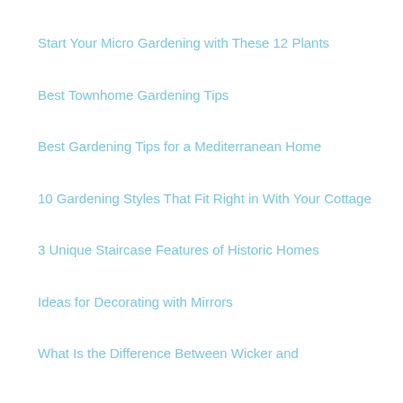Start Your Micro Gardening with These 12 Plants
Best Townhome Gardening Tips
Best Gardening Tips for a Mediterranean Home
10 Gardening Styles That Fit Right in With Your Cottage
3 Unique Staircase Features of Historic Homes
Ideas for Decorating with Mirrors
What Is the Difference Between Wicker and